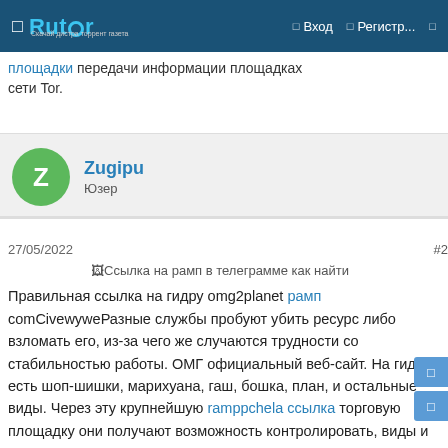Rutor — Вход — Регистр...
площадки передачи информации площадках сети Tor.
Zugipu
Юзер
27/05/2022
#2
Ссылка на рамп в телеграмме как найти
Правильная ссылка на гидру omg2planet рамп comCivewyweРазные службы пробуют убить ресурс либо взломать его, из-за чего же случаются трудности со стабильностью работы. ОМГ официальный веб-сайт. На гидре есть шоп-шишки, марихуана, гаш, бошка, план, и остальные виды. Через эту крупнейшую ramppchela ссылка торговую площадку они получают возможность контролировать, виды и ассортимент товаров.